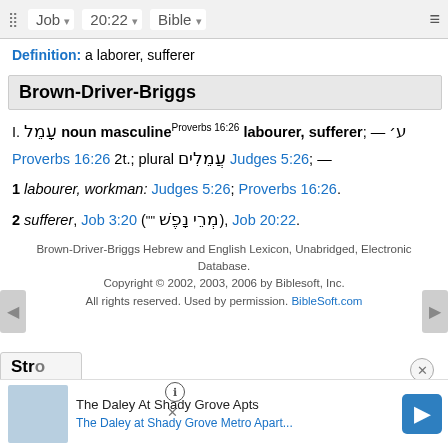Job  20:22  Bible
Definition: a laborer, sufferer
Brown-Driver-Briggs
I. עָמֵל noun masculine Proverbs 16:26 labourer, sufferer; — ע׳ Proverbs 16:26 2t.; plural עֲמֵלִים Judges 5:26; —
1 labourer, workman: Judges 5:26; Proverbs 16:26.
2 sufferer, Job 3:20 ("" מְרֵי נָפֶשׁ), Job 20:22.
Brown-Driver-Briggs Hebrew and English Lexicon, Unabridged, Electronic Database.
Copyright © 2002, 2003, 2006 by Biblesoft, Inc.
All rights reserved. Used by permission. BibleSoft.com
Stro...